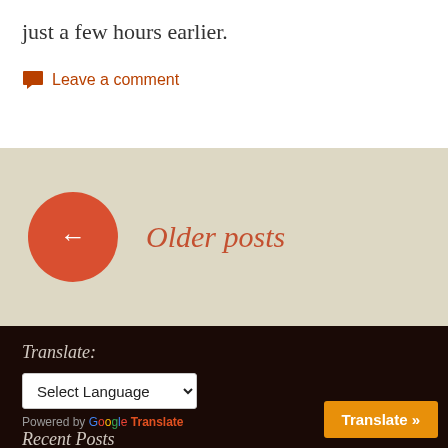just a few hours earlier.
Leave a comment
Older posts
Translate:
Select Language
Powered by Google Translate
Recent Posts
Translate »